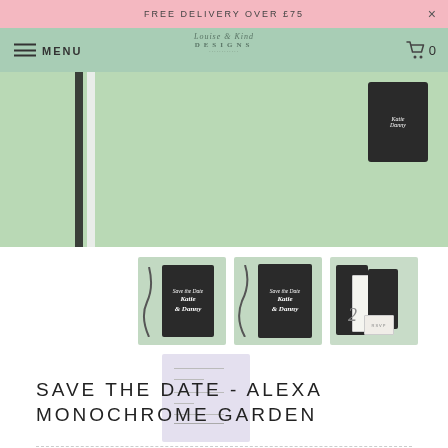FREE DELIVERY OVER £75
[Figure (screenshot): Navigation bar with hamburger menu icon, MENU text, Louise & Kind Designs logo, and cart icon with count 0]
[Figure (photo): Hero image showing wedding stationery on green background with black and white striped ribbon]
[Figure (photo): Thumbnail 1: Dark save the date card with Katie & Danny calligraphy on mint green background]
[Figure (photo): Thumbnail 2: Dark save the date card with Katie & Danny calligraphy and ribbon on mint green background]
[Figure (photo): Thumbnail 3: Full wedding stationery suite including table number, invitation, and save the date cards]
[Figure (photo): Thumbnail 4: White/lavender blank template card showing save the date layout]
SAVE THE DATE - ALEXA MONOCHROME GARDEN